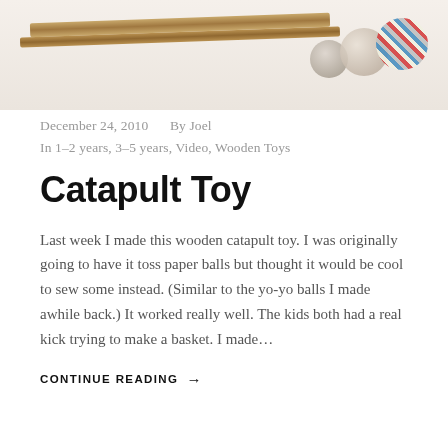[Figure (photo): Photograph of a wooden catapult toy with colorful sewn fabric balls on a light background]
December 24, 2010   By Joel
In 1–2 years, 3–5 years, Video, Wooden Toys
Catapult Toy
Last week I made this wooden catapult toy. I was originally going to have it toss paper balls but thought it would be cool to sew some instead. (Similar to the yo-yo balls I made awhile back.) It worked really well. The kids both had a real kick trying to make a basket. I made…
CONTINUE READING →